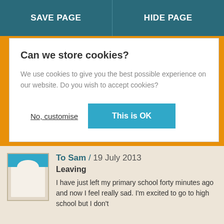SAVE PAGE | HIDE PAGE
Can we store cookies?
We use cookies to give you the best possible experience on our website. Do you wish to accept cookies?
No, customise | This is OK
ASK SAM LETTER
To Sam / 19 July 2013
Leaving
I have just left my primary school forty minutes ago and now I feel really sad. I'm excited to go to high school but I don't